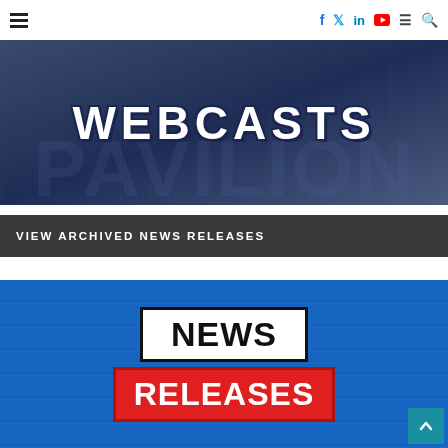Navigation bar with hamburger menu, social icons (f, twitter, in, YouTube), menu, and search
[Figure (screenshot): Dark blue banner image with white bold text reading 'WEBCASTS' and faint building/column background]
VIEW ARCHIVED NEWS RELEASES
[Figure (screenshot): Blue banner image with 'NEWS RELEASES' graphic — NEWS in black on white box, RELEASES in white on red box]